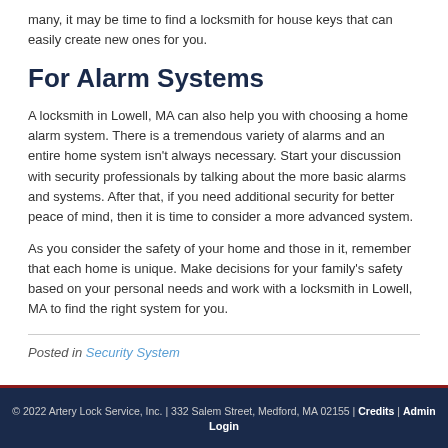many, it may be time to find a locksmith for house keys that can easily create new ones for you.
For Alarm Systems
A locksmith in Lowell, MA can also help you with choosing a home alarm system. There is a tremendous variety of alarms and an entire home system isn't always necessary. Start your discussion with security professionals by talking about the more basic alarms and systems. After that, if you need additional security for better peace of mind, then it is time to consider a more advanced system.
As you consider the safety of your home and those in it, remember that each home is unique. Make decisions for your family's safety based on your personal needs and work with a locksmith in Lowell, MA to find the right system for you.
Posted in Security System
© 2022 Artery Lock Service, Inc. | 332 Salem Street, Medford, MA 02155 | Credits | Admin Login